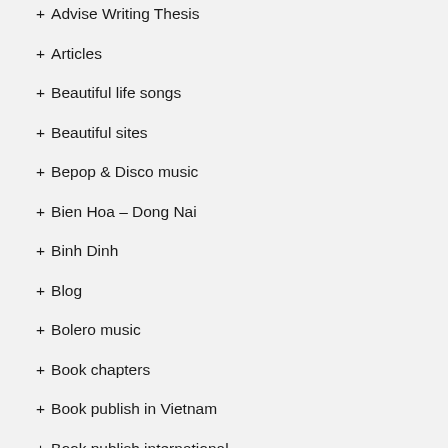+ Advise Writing Thesis
+ Articles
+ Beautiful life songs
+ Beautiful sites
+ Bepop & Disco music
+ Bien Hoa – Dong Nai
+ Binh Dinh
+ Blog
+ Bolero music
+ Book chapters
+ Book publish in Vietnam
+ Book publish international
+ Books
+ Books for Children